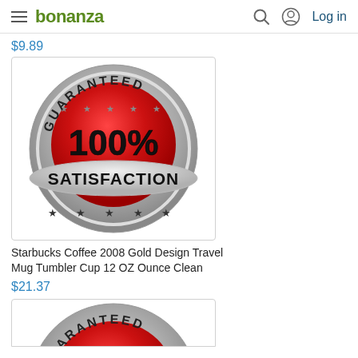bonanza | Log in
$9.89
[Figure (illustration): Guaranteed 100% Satisfaction badge/seal — circular silver badge with red center showing '100%' in large black text, 'GUARANTEED' arching across the top, 'SATISFACTION' on a silver ribbon across the middle, and stars at the top and bottom.]
Starbucks Coffee 2008 Gold Design Travel Mug Tumbler Cup 12 OZ Ounce Clean
$21.37
[Figure (illustration): Partial view of a second Guaranteed 100% Satisfaction badge, showing the top arc with 'GUARANTEED' text — cropped at the bottom of the page.]